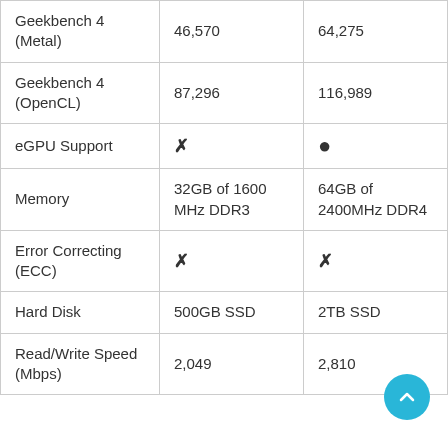| Geekbench 4 (Metal) | 46,570 | 64,275 |
| Geekbench 4 (OpenCL) | 87,296 | 116,989 |
| eGPU Support | ✗ | • |
| Memory | 32GB of 1600 MHz DDR3 | 64GB of 2400MHz DDR4 |
| Error Correcting (ECC) | ✗ | ✗ |
| Hard Disk | 500GB SSD | 2TB SSD |
| Read/Write Speed (Mbps) | 2,049 | 2,810 |